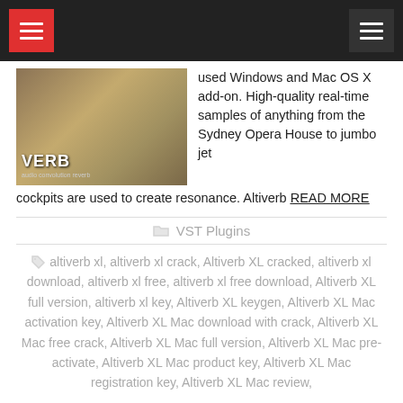Navigation header with hamburger menus
[Figure (screenshot): Screenshot of Altiverb plugin interface showing 'VERB' branding with dark atmospheric background]
used Windows and Mac OS X add-on. High-quality real-time samples of anything from the Sydney Opera House to jumbo jet cockpits are used to create resonance. Altiverb READ MORE
VST Plugins
altiverb xl, altiverb xl crack, Altiverb XL cracked, altiverb xl download, altiverb xl free, altiverb xl free download, Altiverb XL full version, altiverb xl key, Altiverb XL keygen, Altiverb XL Mac activation key, Altiverb XL Mac download with crack, Altiverb XL Mac free crack, Altiverb XL Mac full version, Altiverb XL Mac pre-activate, Altiverb XL Mac product key, Altiverb XL Mac registration key, Altiverb XL Mac review,